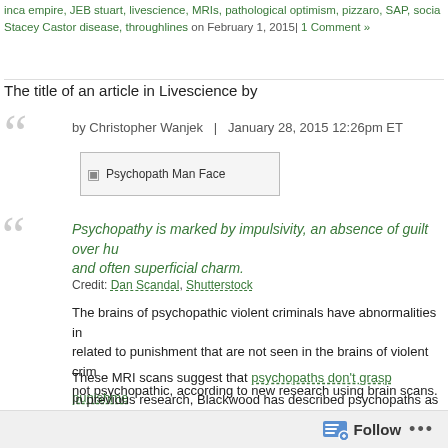inca empire, JEB stuart, livescience, MRIs, pathological optimism, pizzaro, SAP, social, Stacey Castor disease, throughlines on February 1, 2015| 1 Comment »
The title of an article in Livescience by
by Christopher Wanjek  |  January 28, 2015 12:26pm ET
[Figure (photo): Placeholder image labeled 'Psychopath Man Face']
Psychopathy is marked by impulsivity, an absence of guilt over hurting others, and often superficial charm.
Credit: Dan Scandal, Shutterstock
The brains of psychopathic violent criminals have abnormalities in brain regions related to punishment that are not seen in the brains of violent criminals who are not psychopathic, according to new research using brain scans.
These MRI scans suggest that psychopaths don't grasp punishment
In previous research, Blackwood has described psychopaths as "c... and other violent offenders as "hot-headed."
To understand this difference, Blackwood and his colleagues cond... scans . . .
Follow ...